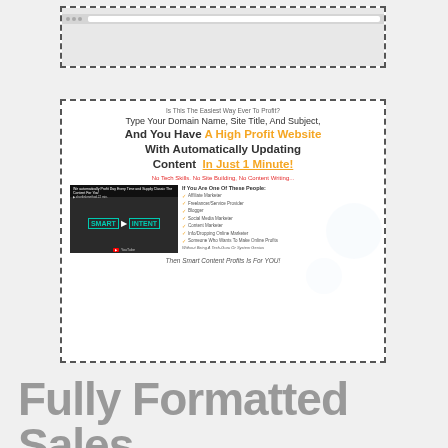[Figure (screenshot): Browser/webpage screenshot mockup in dashed border box at top of page]
[Figure (screenshot): Sales page mockup inside dashed border showing Smart Content Profits landing page with headline: Is This The Easiest Way Ever To Profit? Type Your Domain Name, Site Title, And Subject, And You Have A High Profit Website With Automatically Updating Content In Just 1 Minute! No Tech Skills. No Site Building, No Content Writing... Video thumbnail and bullet list. Then Smart Content Profits Is For YOU!]
Fully Formatted Sales Pages